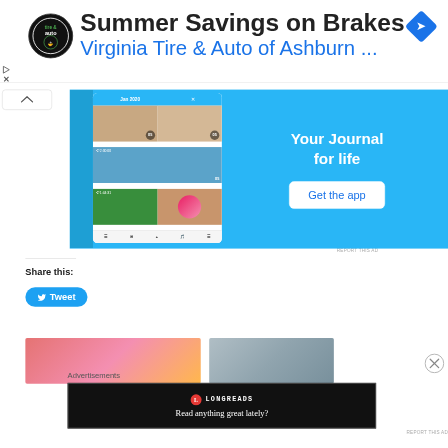[Figure (screenshot): Advertisement banner for Virginia Tire & Auto of Ashburn showing Summer Savings on Brakes with circular tire & auto logo on left and blue navigation diamond icon on right]
[Figure (screenshot): Advertisement for a journal app showing mobile app screenshots on blue background with text 'Your Journal for life' and 'Get the app' button]
Share this:
[Figure (screenshot): Blue Tweet button with Twitter bird icon]
[Figure (photo): Bottom row of article thumbnail images partially visible]
Advertisements
[Figure (screenshot): Longreads advertisement on black background with red circular logo and text 'Read anything great lately?']